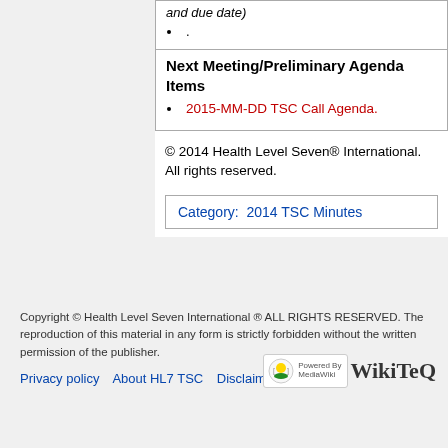| and due date) | . |
| Next Meeting/Preliminary Agenda Items | 2015-MM-DD TSC Call Agenda. |
© 2014 Health Level Seven® International. All rights reserved.
Category:  2014 TSC Minutes
Copyright © Health Level Seven International ® ALL RIGHTS RESERVED. The reproduction of this material in any form is strictly forbidden without the written permission of the publisher.
Privacy policy   About HL7 TSC   Disclaimers